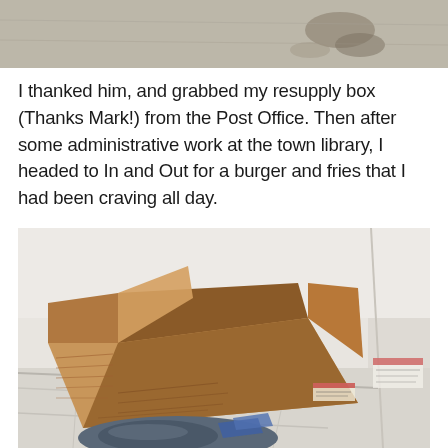[Figure (photo): Top portion of a photo showing a concrete/asphalt ground surface with some dark marks, cropped at the top of the page.]
I thanked him, and grabbed my resupply box (Thanks Mark!) from the Post Office. Then after some administrative work at the town library, I headed to In and Out for a burger and fries that I had been craving all day.
[Figure (photo): An open cardboard shipping box viewed from above, sitting on a white tiled floor next to a wall. A backpack or bag is visible at the bottom of the image.]